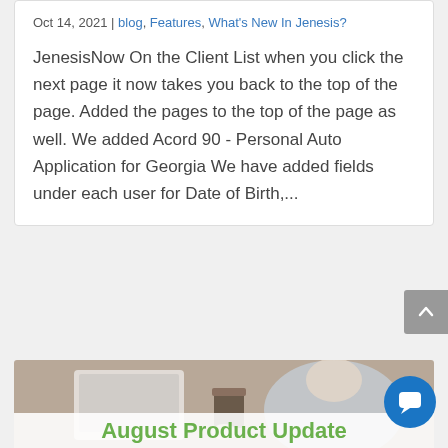Oct 14, 2021 | blog, Features, What's New In Jenesis?
JenesisNow On the Client List when you click the next page it now takes you back to the top of the page. Added the pages to the top of the page as well. We added Acord 90 - Personal Auto Application for Georgia We have added fields under each user for Date of Birth,...
[Figure (photo): Person typing on laptop with a coffee cup nearby, background with brick wall]
August Product Update